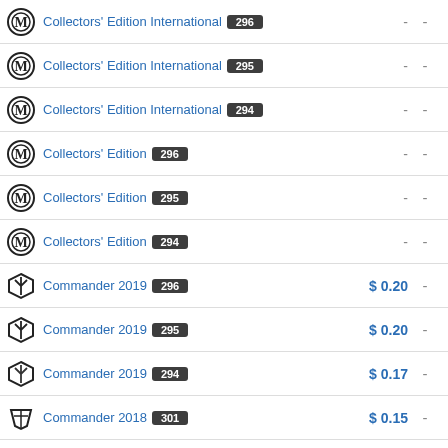| Icon | Set Name | Number | Price |  |
| --- | --- | --- | --- | --- |
| M logo | Collectors' Edition International | 296 | - | - |
| M logo | Collectors' Edition International | 295 | - | - |
| M logo | Collectors' Edition International | 294 | - | - |
| M logo | Collectors' Edition | 296 | - | - |
| M logo | Collectors' Edition | 295 | - | - |
| M logo | Collectors' Edition | 294 | - | - |
| Commander shield | Commander 2019 | 296 | $0.20 | - |
| Commander shield | Commander 2019 | 295 | $0.20 | - |
| Commander shield | Commander 2019 | 294 | $0.17 | - |
| Commander 2018 shield | Commander 2018 | 301 | $0.15 | - |
| Commander 2018 shield | Commander 2018 | 300 | $0.19 | - |
| Commander 2018 shield | Commander 2018 | 299 | $0.17 | - |
| Commander 2017 icon | Commander 2017 | 303 | $0.24 | - |